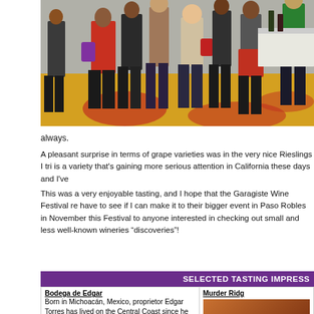[Figure (photo): Crowd of people at a wine tasting event, standing in a large hall with a colorful patterned carpet (yellow/red), viewed from behind. People in various outfits including red top, black clothing, carrying bags.]
always.
A pleasant surprise in terms of grape varieties was in the very nice Rieslings I tri is a variety that's gaining more serious attention in California these days and I've
This was a very enjoyable tasting, and I hope that the Garagiste Wine Festival re have to see if I can make it to their bigger event in Paso Robles in November this Festival to anyone interested in checking out small and less well-known wineries "discoveries"!
SELECTED TASTING IMPRESS
| Bodega de Edgar | Murder Ridg |
| --- | --- |
| Born in Michoacán, Mexico, proprietor Edgar Torres has lived on the Central Coast since he was a boy. He's worked at the old Garretson Wine Company, McPrice Myers / Barrel 27, and at Hug Cellars – he now makes the Hug | [image] |